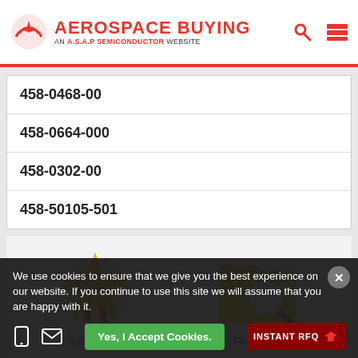AEROSPACE BUYING — AN A.S.A.P SEMICONDUCTOR WEBSITE
458-0468-00
458-0664-000
458-0302-00
458-50105-501
[Figure (illustration): Low price badge icon — gold star-burst with percent symbol and red ribbon]
Low price
[Figure (illustration): Find it fast icon — yellow folder with magnifying glass]
Find it fast
We use cookies to ensure that we give you the best experience on our website. If you continue to use this site we will assume that you are happy with it.
Yes, I Accept Cookies.
INSTANT RFQ